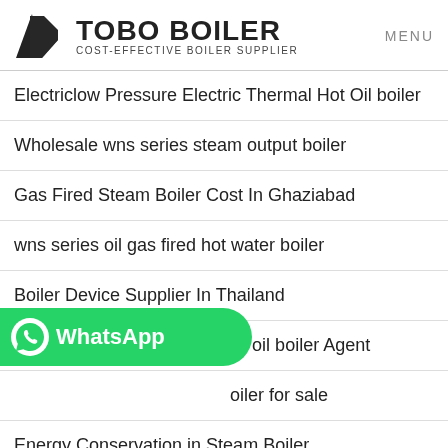TOBO BOILER COST-EFFECTIVE BOILER SUPPLIER MENU
Electriclow Pressure Electric Thermal Hot Oil boiler
Wholesale wns series steam output boiler
Gas Fired Steam Boiler Cost In Ghaziabad
wns series oil gas fired hot water boiler
Boiler Device Supplier In Thailand
distillation solvent system hot oil boiler Agent
…oiler for sale
[Figure (logo): WhatsApp button with green background and phone icon]
Energy Conservation in Steam Boiler